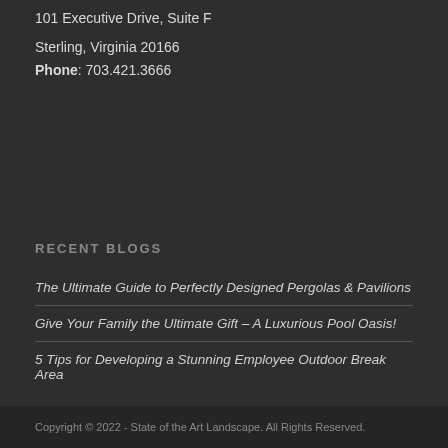101 Executive Drive, Suite F
Sterling, Virginia 20166
Phone: 703.421.3666
RECENT BLOGS
The Ultimate Guide to Perfectly Designed Pergolas & Pavilions
Give Your Family the Ultimate Gift – A Luxurious Pool Oasis!
5 Tips for Developing a Stunning Employee Outdoor Break Area
Copyright © 2022 - State of the Art Landscape. All Rights Reserved.